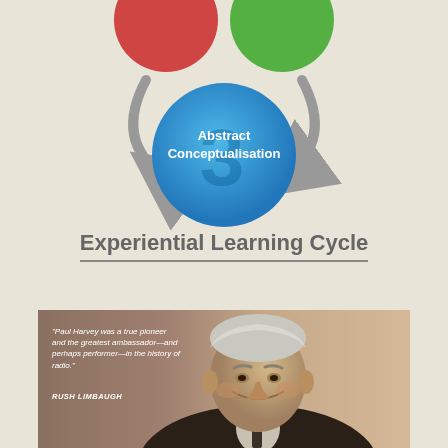[Figure (infographic): Partial view of the Kolb Experiential Learning Cycle diagram showing a large blue circle labeled '3 Abstract Conceptualisation' in the center-bottom, with parts of red and green circles visible at top, and grey curved arrows between them.]
Experiential Learning Cycle
[Figure (photo): Sepia-toned black and white portrait photograph of an elderly smiling man (Paul Harvey) in a suit and tie, with a quote overlay reading: 'Paul Harvey was a true pioneer and the greatest ambassador—and perhaps performer—in the history of radio.' — RUSH LIMBAUGH]